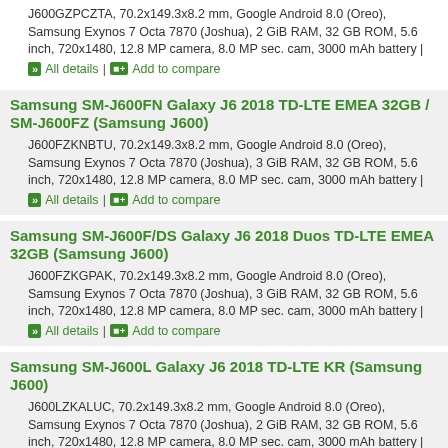J600GZPCZTA, 70.2x149.3x8.2 mm, Google Android 8.0 (Oreo), Samsung Exynos 7 Octa 7870 (Joshua), 2 GiB RAM, 32 GB ROM, 5.6 inch, 720x1480, 12.8 MP camera, 8.0 MP sec. cam, 3000 mAh battery |
All details | Add to compare
Samsung SM-J600FN Galaxy J6 2018 TD-LTE EMEA 32GB / SM-J600FZ (Samsung J600)
J600FZKNBTU, 70.2x149.3x8.2 mm, Google Android 8.0 (Oreo), Samsung Exynos 7 Octa 7870 (Joshua), 3 GiB RAM, 32 GB ROM, 5.6 inch, 720x1480, 12.8 MP camera, 8.0 MP sec. cam, 3000 mAh battery |
All details | Add to compare
Samsung SM-J600F/DS Galaxy J6 2018 Duos TD-LTE EMEA 32GB (Samsung J600)
J600FZKGPAK, 70.2x149.3x8.2 mm, Google Android 8.0 (Oreo), Samsung Exynos 7 Octa 7870 (Joshua), 3 GiB RAM, 32 GB ROM, 5.6 inch, 720x1480, 12.8 MP camera, 8.0 MP sec. cam, 3000 mAh battery |
All details | Add to compare
Samsung SM-J600L Galaxy J6 2018 TD-LTE KR (Samsung J600)
J600LZKALUC, 70.2x149.3x8.2 mm, Google Android 8.0 (Oreo), Samsung Exynos 7 Octa 7870 (Joshua), 2 GiB RAM, 32 GB ROM, 5.6 inch, 720x1480, 12.8 MP camera, 8.0 MP sec. cam, 3000 mAh battery |